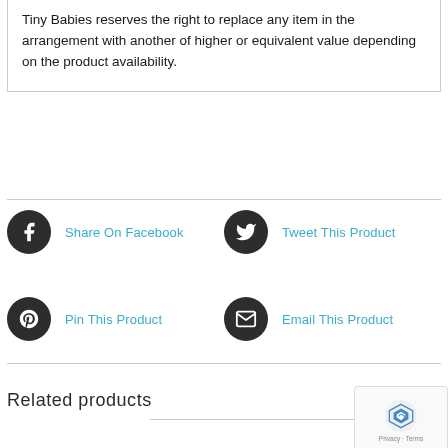Tiny Babies reserves the right to replace any item in the arrangement with another of higher or equivalent value depending on the product availability.
[Figure (infographic): Social sharing buttons: Share On Facebook (Facebook icon), Tweet This Product (Twitter icon), Pin This Product (Pinterest icon), Email This Product (Email icon)]
Related products